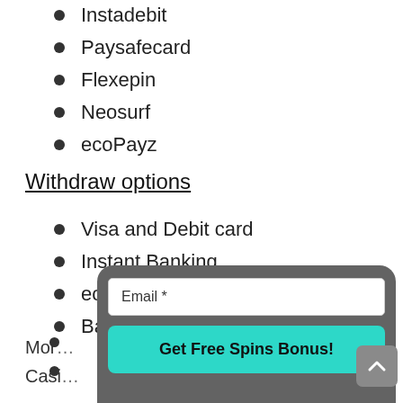Instadebit
Paysafecard
Flexepin
Neosurf
ecoPayz
Withdraw options
Visa and Debit card
Instant Banking
ecoPayz
Bank Transfer
Mor...ose Casi...
[Figure (screenshot): Modal popup with Email input field and 'Get Free Spins Bonus!' teal button on dark grey background]